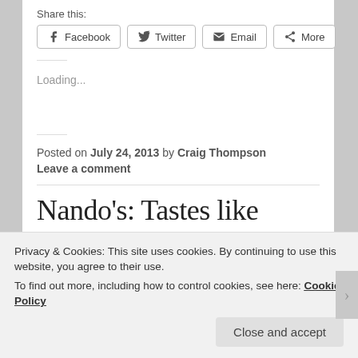Share this:
Facebook  Twitter  Email  More
Loading...
Posted on July 24, 2013 by Craig Thompson
Leave a comment
Nando's: Tastes like Chicken
Privacy & Cookies: This site uses cookies. By continuing to use this website, you agree to their use.
To find out more, including how to control cookies, see here: Cookie Policy